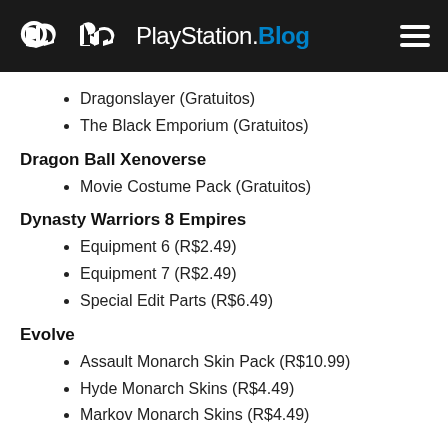PlayStation.Blog
Dragonslayer (Gratuitos)
The Black Emporium (Gratuitos)
Dragon Ball Xenoverse
Movie Costume Pack (Gratuitos)
Dynasty Warriors 8 Empires
Equipment 6 (R$2.49)
Equipment 7 (R$2.49)
Special Edit Parts (R$6.49)
Evolve
Assault Monarch Skin Pack (R$10.99)
Hyde Monarch Skins (R$4.49)
Markov Monarch Skins (R$4.49)